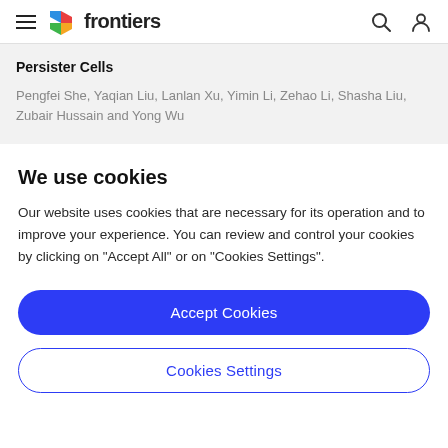frontiers
Persister Cells
Pengfei She, Yaqian Liu, Lanlan Xu, Yimin Li, Zehao Li, Shasha Liu, Zubair Hussain and Yong Wu
We use cookies
Our website uses cookies that are necessary for its operation and to improve your experience. You can review and control your cookies by clicking on "Accept All" or on "Cookies Settings".
Accept Cookies
Cookies Settings